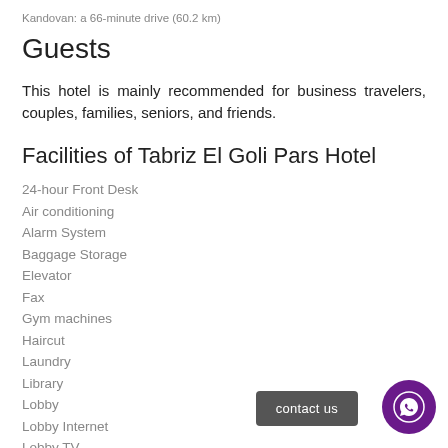Kandovan: a 66-minute drive (60.2 km)
Guests
This hotel is mainly recommended for business travelers, couples, families, seniors, and friends.
Facilities of Tabriz El Goli Pars Hotel
24-hour Front Desk
Air conditioning
Alarm System
Baggage Storage
Elevator
Fax
Gym machines
Haircut
Laundry
Library
Lobby
Lobby Internet
Lobby TV
Minibar
Parking